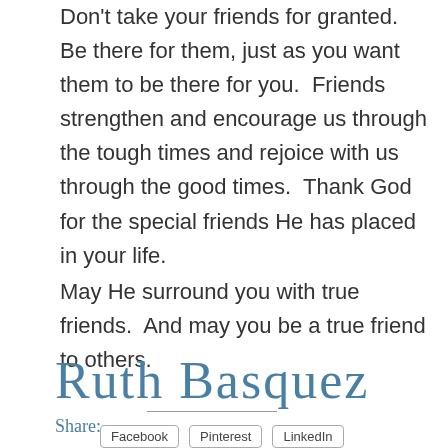Don't take your friends for granted.  Be there for them, just as you want them to be there for you.  Friends strengthen and encourage us through the tough times and rejoice with us through the good times.  Thank God for the special friends He has placed in your life.
May He surround you with true friends.  And may you be a true friend to others.
[Figure (illustration): Cursive signature reading 'Ruth Basquez' in blue-gray script font]
Share:
Facebook  Pinterest  LinkedIn